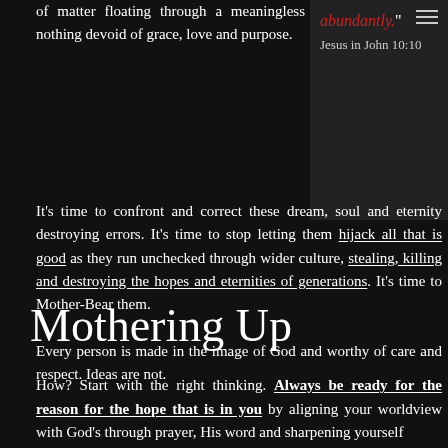of matter floating through a meaningless nothing devoid of grace, love and purpose.
abundantly." Jesus in John 10:10
It's time to confront and correct these dream, soul and eternity destroying errors. It's time to stop letting them hijack all that is good as they run unchecked through wider culture, stealing, killing and destroying the hopes and eternities of generations. It's time to Mother-Bear them.
Every person is made in the image of God and worthy of care and respect. Ideas are not.
Mothering Up
How? Start with the right thinking. Always be ready for the reason for the hope that is in you by aligning your worldview with God's through prayer, His word and sharpening yourself